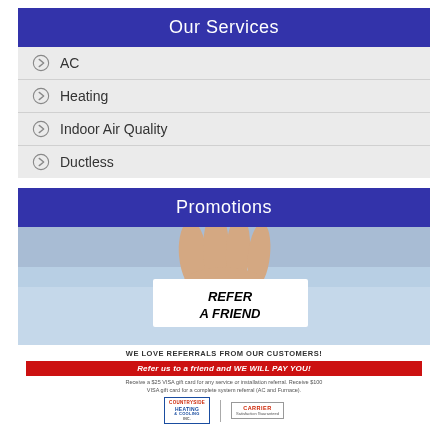Our Services
AC
Heating
Indoor Air Quality
Ductless
Promotions
[Figure (photo): Person holding a white card reading REFER A FRIEND, with a referral promotion graphic below including text: WE LOVE REFERRALS FROM OUR CUSTOMERS! Refer us to a friend and WE WILL PAY YOU! Receive a $25 VISA gift card for any service or installation referral. Receive $100 VISA gift card for a complete system referral (AC and Furnace). Countryside Heating & Cooling logo and Carrier logo shown at bottom.]